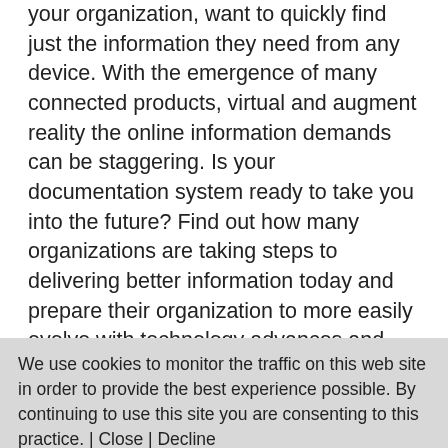your organization, want to quickly find just the information they need from any device. With the emergence of many connected products, virtual and augment reality the online information demands can be staggering. Is your documentation system ready to take you into the future? Find out how many organizations are taking steps to delivering better information today and prepare their organization to more easily evolve with technology advances and consumer demands. Attendees will learn: 1) What does the evolution of online delivery include? 2) How structured content impacts your future delivery options? 3) Why you don't have to wait to begin improving your
We use cookies to monitor the traffic on this web site in order to provide the best experience possible. By continuing to use this site you are consenting to this practice. | Close | Decline